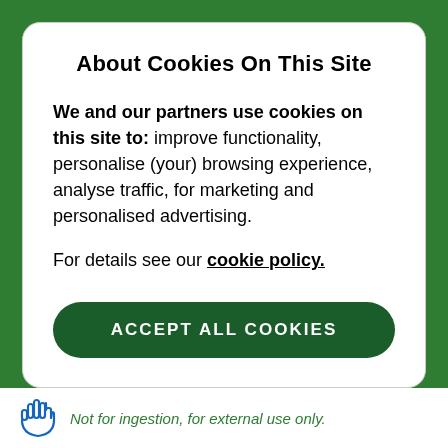About Cookies On This Site
We and our partners use cookies on this site to: improve functionality, personalise (your) browsing experience, analyse traffic, for marketing and personalised advertising.
For details see our cookie policy.
ACCEPT ALL COOKIES
Not for ingestion, for external use only.